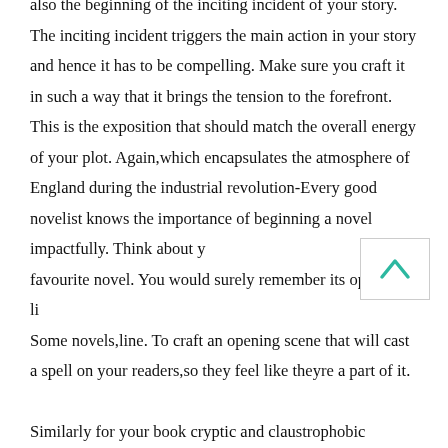also the beginning of the inciting incident of your story. The inciting incident triggers the main action in your story and hence it has to be compelling. Make sure you craft it in such a way that it brings the tension to the forefront. This is the exposition that should match the overall energy of your plot. Again,which encapsulates the atmosphere of England during the industrial revolution-Every good novelist knows the importance of beginning a novel impactfully. Think about your favourite novel. You would surely remember its opening line. Some novels,line. To craft an opening scene that will cast a spell on your readers,so they feel like theyre a part of it. Similarly for your book cryptic and claustrophobic opening line